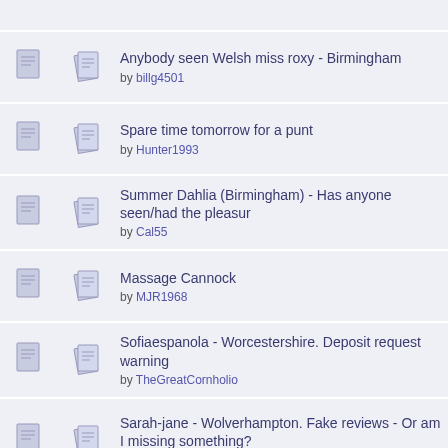Anybody seen Welsh miss roxy - Birmingham by billg4501
Spare time tomorrow for a punt by Hunter1993
Summer Dahlia (Birmingham) - Has anyone seen/had the pleasur by Cal55
Massage Cannock by MJR1968
Sofiaespanola - Worcestershire. Deposit request warning by TheGreatCornholio
Sarah-jane - Wolverhampton. Fake reviews - Or am I missing something? by Brumish
Amelia Mae - Dudley. Any info on her? by Cervixpounder69
Coventry Thai massage by jBishop
Sports or very deep tissue massage needed, In Coventry.